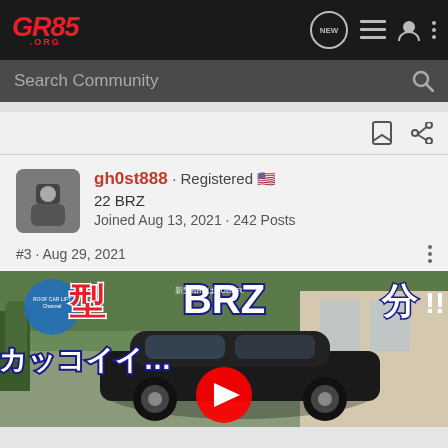GR86.ORG — navigation bar with logo and icons (NEW, list, user, menu)
Search Community
gh0st888 · Registered 🇺🇸
22 BRZ
Joined Aug 13, 2021 · 242 Posts
#3 · Aug 29, 2021
[Figure (screenshot): YouTube video thumbnail showing a Subaru BRZ with Japanese text overlay (BRZ, カッコイイ…, SUBAR…) and YouTube play button]